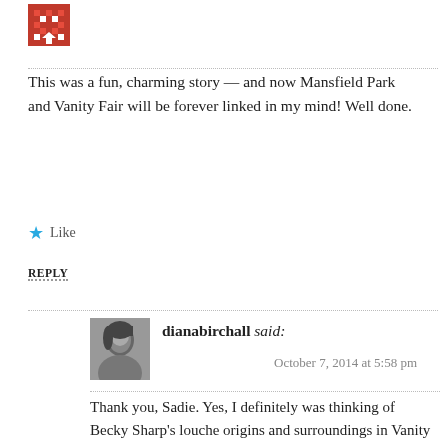[Figure (illustration): Red pixel-art style avatar icon in top left area]
This was a fun, charming story — and now Mansfield Park and Vanity Fair will be forever linked in my mind! Well done.
★ Like
REPLY
[Figure (photo): Black and white portrait photo of a woman, dianabirchall avatar]
dianabirchall said:
October 7, 2014 at 5:58 pm
Thank you, Sadie. Yes, I definitely was thinking of Becky Sharp's louche origins and surroundings in Vanity Fair, as being something similar to THIS Sharp's milieu – and the name was a deliberate reference! 🙂
★ Like
REPLY